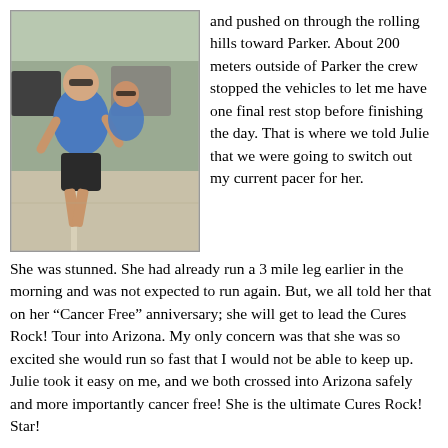[Figure (photo): Two runners in blue t-shirts running on a road, vehicles visible in the background]
and pushed on through the rolling hills toward Parker. About 200 meters outside of Parker the crew stopped the vehicles to let me have one final rest stop before finishing the day. That is where we told Julie that we were going to switch out my current pacer for her. She was stunned. She had already run a 3 mile leg earlier in the morning and was not expected to run again. But, we all told her that on her “Cancer Free” anniversary; she will get to lead the Cures Rock! Tour into Arizona. My only concern was that she was so excited she would run so fast that I would not be able to keep up. Julie took it easy on me, and we both crossed into Arizona safely and more importantly cancer free! She is the ultimate Cures Rock! Star!
The “Live Life to the Ultra” moment today came today